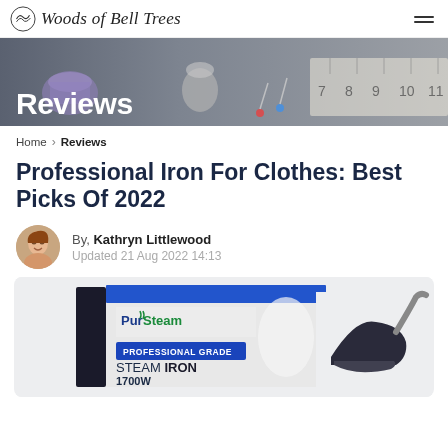Woods of Bell Trees
[Figure (photo): Hero banner photo showing sewing/crafting items: a purple thread spool, thimble, ruler/tape measure, and pins on a gray background with white text 'Reviews']
Home > Reviews
Professional Iron For Clothes: Best Picks Of 2022
By, Kathryn Littlewood
Updated 21 Aug 2022 14:13
[Figure (photo): Product image of PurSteam Professional Grade Steam Iron 1700W in its retail box packaging, showing the iron alongside box with blue and white design]